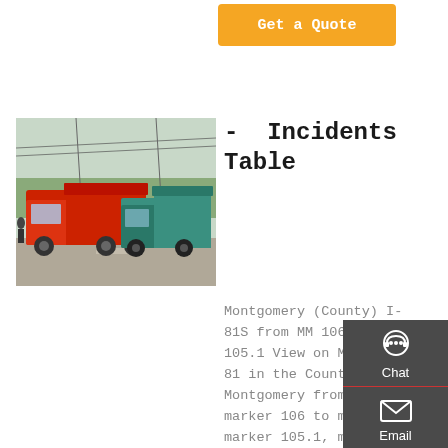Get a Quote
[Figure (photo): Red and teal/green dump trucks parked on a road with power lines and trees in the background]
- Incidents Table
Montgomery (County) I-81S from MM 106.0 to MM 105.1 View on Map on I-81 in the County of Montgomery from mile marker 106 to mile marker 105.1, motorists can expect potential delays in this area from 07/23/21 at 2:38 PM until 12/21/21 at 12:00